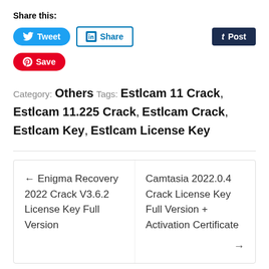Share this:
[Figure (infographic): Social share buttons: Tweet (Twitter/blue), Share (LinkedIn/blue outline), Post (Tumblr/dark navy), Save (Pinterest/red)]
Category: Others Tags: Estlcam 11 Crack, Estlcam 11.225 Crack, Estlcam Crack, Estlcam Key, Estlcam License Key
← Enigma Recovery 2022 Crack V3.6.2 License Key Full Version
Camtasia 2022.0.4 Crack License Key Full Version + Activation Certificate →